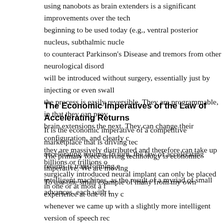using nanobots as brain extenders is a significant improvement over the tech beginning to be used today (e.g., ventral posterior nucleus, subthalmic nucle to counteract Parkinson's Disease and tremors from other neurological disord will be introduced without surgery, essentially just by injecting or even swall the process is easily reversible. They are programmable, in that they can prov brain extensions the next. They can change their configuration, and clearly c they are massively distributed and therefore can take up billions or trillions o surgically introduced neural implant can only be placed in one or at most a f
The Economic Imperatives of the Law of Accelerating Returns
It is the economic imperative of a competitive marketplace that is driving tec accelerating returns. In turn, the law of accelerating returns is transforming e
The primary force driving technology is economic imperative. We are moving intelligent machines, as the result of a myriad of small advances, each with t
To use one small example of many from my own experience at one of my c whenever we came up with a slightly more intelligent version of speech rec value than the earlier generation and, as a result, sales increased. It is interes recognition software, the three primary surviving competitors stayed very clo software. A few other companies that failed to do so (e.g., Speech Systems) would be able to sell the version prior to the latest version for perhaps a qua versions of our technology that were two generations old, we couldn't even